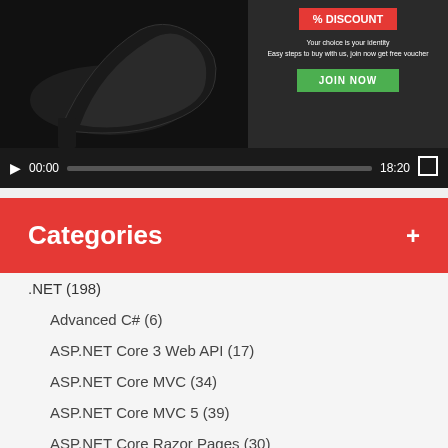[Figure (screenshot): Video player thumbnail showing a high-heel shoe advertisement with discount promo and JOIN NOW button, with video controls showing 00:00 / 18:20]
Categories +
.NET (198)
Advanced C# (6)
ASP.NET Core 3 Web API (17)
ASP.NET Core MVC (34)
ASP.NET Core MVC 5 (39)
ASP.NET Core Razor Pages (30)
ASP.NET Core Web API (8)